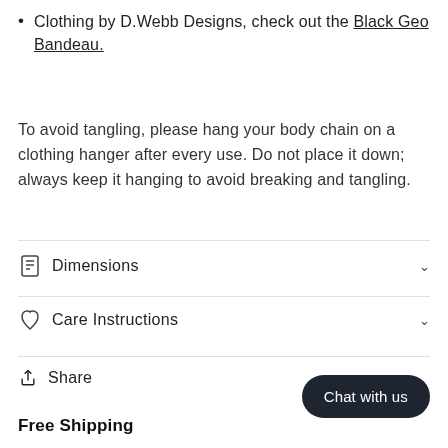Clothing by D.Webb Designs, check out the Black Geo Bandeau.
To avoid tangling, please hang your body chain on a clothing hanger after every use. Do not place it down; always keep it hanging to avoid breaking and tangling.
Dimensions
Care Instructions
Share
Chat with us
Free Shipping